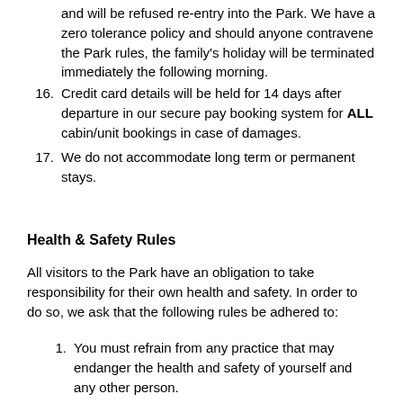and will be refused re-entry into the Park. We have a zero tolerance policy and should anyone contravene the Park rules, the family's holiday will be terminated immediately the following morning.
16. Credit card details will be held for 14 days after departure in our secure pay booking system for ALL cabin/unit bookings in case of damages.
17. We do not accommodate long term or permanent stays.
Health & Safety Rules
All visitors to the Park have an obligation to take responsibility for their own health and safety. In order to do so, we ask that the following rules be adhered to:
1. You must refrain from any practice that may endanger the health and safety of yourself and any other person.
2. You must...